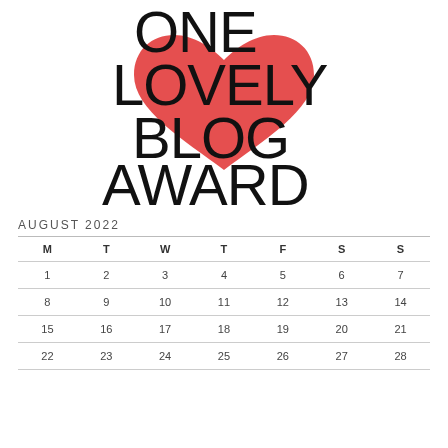[Figure (logo): One Lovely Blog Award logo with large decorative text ONE LOVELY BLOG AWARD and a red heart shape behind the text]
AUGUST 2022
| M | T | W | T | F | S | S |
| --- | --- | --- | --- | --- | --- | --- |
| 1 | 2 | 3 | 4 | 5 | 6 | 7 |
| 8 | 9 | 10 | 11 | 12 | 13 | 14 |
| 15 | 16 | 17 | 18 | 19 | 20 | 21 |
| 22 | 23 | 24 | 25 | 26 | 27 | 28 |